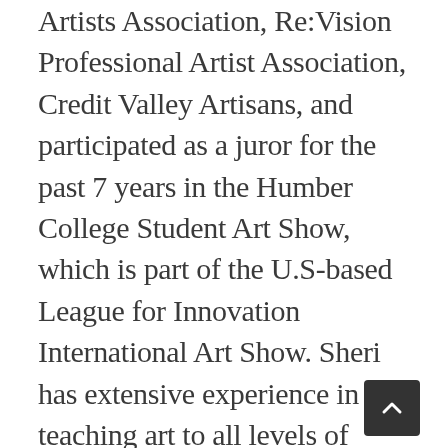Artists Association, Re:Vision Professional Artist Association, Credit Valley Artisans, and participated as a juror for the past 7 years in the Humber College Student Art Show, which is part of the U.S-based League for Innovation International Art Show. Sheri has extensive experience in teaching art to all levels of artists for 3 decades. Her students have won over 100 arts awards to date. As part of her teaching initiatives, she provides portfolio building classes to